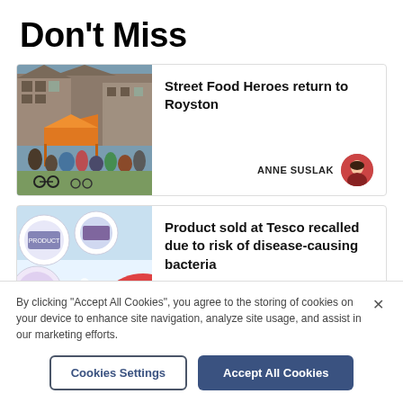Don't Miss
[Figure (photo): Outdoor street food event with crowd, orange tent, and brick buildings in background]
Street Food Heroes return to Royston
ANNE SUSLAK
[Figure (photo): Product packaging circles on light blue background with red partial circle element]
Product sold at Tesco recalled due to risk of disease-causing bacteria
By clicking “Accept All Cookies”, you agree to the storing of cookies on your device to enhance site navigation, analyze site usage, and assist in our marketing efforts.
Cookies Settings
Accept All Cookies